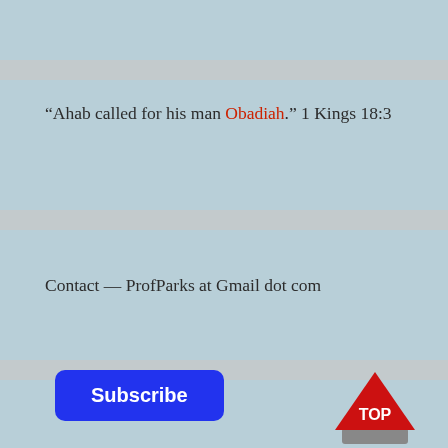“Ahab called for his man Obadiah.” 1 Kings 18:3
Contact — ProfParks at Gmail dot com
[Figure (other): Blue rounded rectangle Subscribe button]
[Figure (other): Red triangle TOP button icon with gray base]